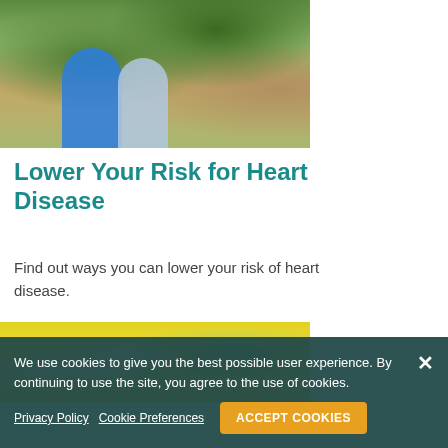[Figure (photo): Elderly couple walking together in a park, holding hands, trees in background, woman in blue top]
Lower Your Risk for Heart Disease
Find out ways you can lower your risk of heart disease.
[Figure (photo): Close-up of olive oil in a glass bottle with olive branches and yellow background]
We use cookies to give you the best possible user experience. By continuing to use the site, you agree to the use of cookies.
Privacy Policy  Cookie Preferences  ACCEPT COOKIES